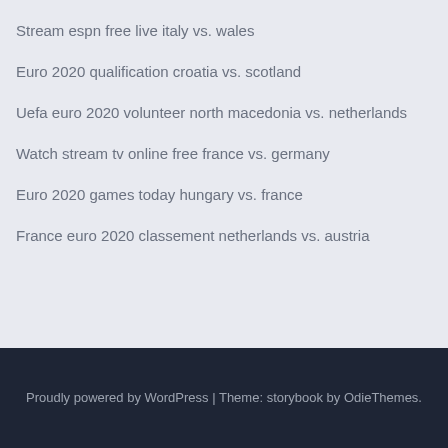Stream espn free live italy vs. wales
Euro 2020 qualification croatia vs. scotland
Uefa euro 2020 volunteer north macedonia vs. netherlands
Watch stream tv online free france vs. germany
Euro 2020 games today hungary vs. france
France euro 2020 classement netherlands vs. austria
Proudly powered by WordPress | Theme: storybook by OdieThemes.